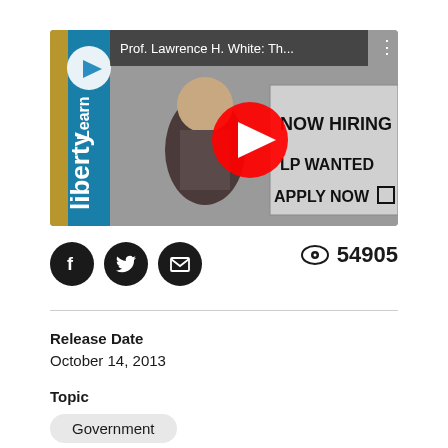[Figure (screenshot): YouTube video thumbnail showing animated illustration with 'NOW HIRING', 'HELP WANTED', 'APPLY NOW' text signs. Title reads 'Prof. Lawrence H. White: Th...' with Learn Liberty branding on the left side.]
54905
Release Date
October 14, 2013
Topic
Government